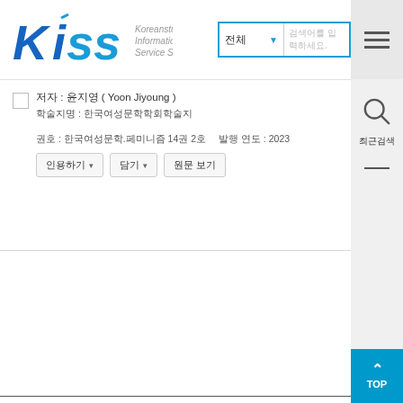[Figure (logo): KISS - Koreanstudies Information Service System logo with blue stylized text]
저자 : 윤지영 ( Yoon Jiyoung )
학술지명 : 한국여성문학학회학술지  |  권호사항 : 한국여성문학.페미니즘 14권 2호  |  발행 연도 : 2023
인용하기 ▾  |  담기 ▾  |  원문 보기
최근검색